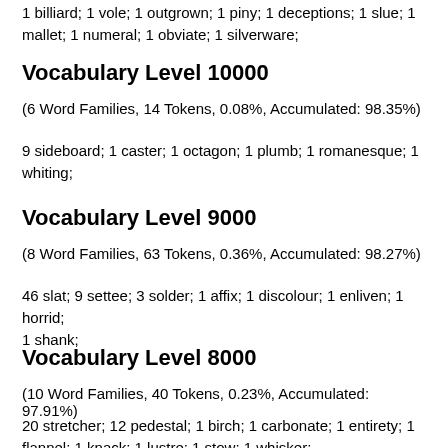1 billiard; 1 vole; 1 outgrown; 1 piny; 1 deceptions; 1 slue; 1 mallet; 1 numeral; 1 obviate; 1 silverware;
Vocabulary Level 10000
(6 Word Families, 14 Tokens, 0.08%, Accumulated: 98.35%)
9 sideboard; 1 caster; 1 octagon; 1 plumb; 1 romanesque; 1 whiting;
Vocabulary Level 9000
(8 Word Families, 63 Tokens, 0.36%, Accumulated: 98.27%)
46 slat; 9 settee; 3 solder; 1 affix; 1 discolour; 1 enliven; 1 horrid; 1 shank;
Vocabulary Level 8000
(10 Word Families, 40 Tokens, 0.23%, Accumulated: 97.91%)
20 stretcher; 12 pedestal; 1 birch; 1 carbonate; 1 entirety; 1 flannel; 1 knack; 1 lustre; 1 stow; 1 whisker;